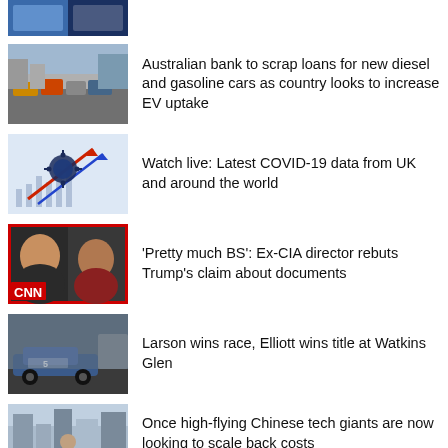[Figure (photo): Partial thumbnail image at top, cut off]
Australian bank to scrap loans for new diesel and gasoline cars as country looks to increase EV uptake
Watch live: Latest COVID-19 data from UK and around the world
'Pretty much BS': Ex-CIA director rebuts Trump's claim about documents
Larson wins race, Elliott wins title at Watkins Glen
Once high-flying Chinese tech giants are now looking to scale back costs